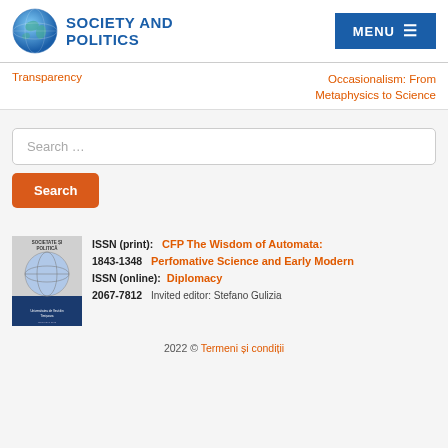SOCIETY AND POLITICS | MENU
Transparency | Occasionalism: From Metaphysics to Science
Search …
Search
[Figure (illustration): Journal cover for Societate si Politica]
ISSN (print): CFP The Wisdom of Automata: Perfomative Science and Early Modern Diplomacy
1843-1348
ISSN (online):
2067-7812 Invited editor: Stefano Gulizia
2022 © Termeni și condiții